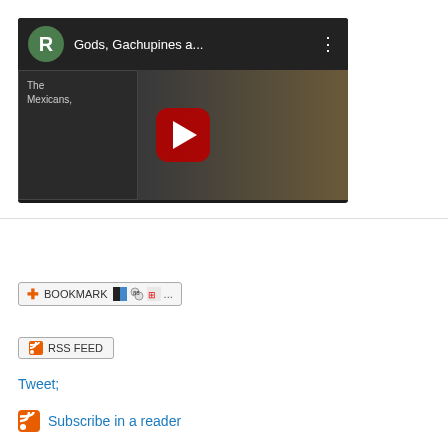[Figure (screenshot): YouTube video thumbnail showing 'Gods, Gachupines a...' with a green R avatar, dark background with a red play button, left panel showing 'The Mexicans' text]
BOOKMARK
RSS FEED
Tweet;
Subscribe in a reader